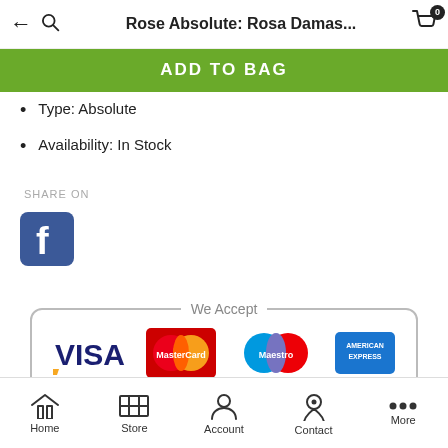Rose Absolute: Rosa Damas...
ADD TO BAG
Type: Absolute
Availability: In Stock
SHARE ON
[Figure (logo): Facebook logo icon - blue square with white 'f']
[Figure (infographic): We Accept payment logos: VISA, MasterCard, Maestro, American Express]
Home  Store  Account  Contact  More